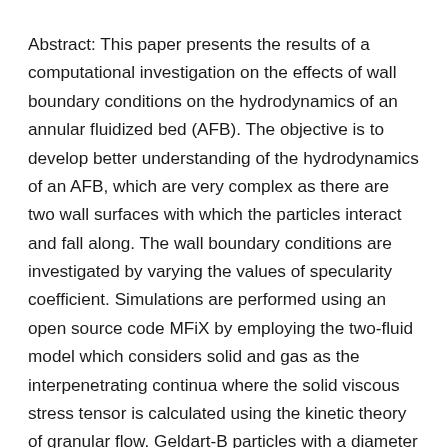Abstract: This paper presents the results of a computational investigation on the effects of wall boundary conditions on the hydrodynamics of an annular fluidized bed (AFB). The objective is to develop better understanding of the hydrodynamics of an AFB, which are very complex as there are two wall surfaces with which the particles interact and fall along. The wall boundary conditions are investigated by varying the values of specularity coefficient. Simulations are performed using an open source code MFiX by employing the two-fluid model which considers solid and gas as the interpenetrating continua where the solid viscous stress tensor is calculated using the kinetic theory of granular flow. Geldart-B particles with a diameter of 530 μm and air as a fluidizing agent are used. A circumferential core-annulus structure is observed in the reactor. The hydrodynamics of AFB is very sensitive to the specularity